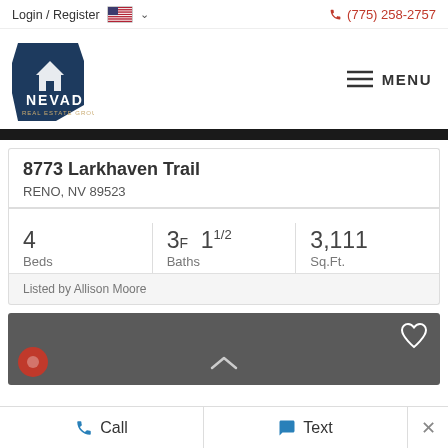Login / Register  🇺🇸 ∨   (775) 258-2757
[Figure (logo): Nevada Real Estate Group logo — dark blue Nevada state silhouette with house icon, text NEVADA REAL ESTATE GROUP]
8773 Larkhaven Trail
RENO, NV 89523
4 Beds   3F 1 1/2 Baths   3,111 Sq.Ft.
Listed by Allison Moore
Call   Text   ×